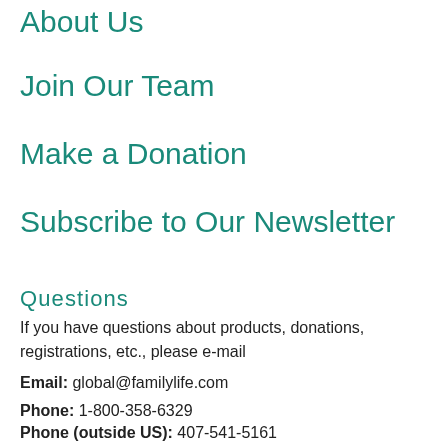About Us
Join Our Team
Make a Donation
Subscribe to Our Newsletter
Questions
If you have questions about products, donations, registrations, etc., please e-mail
Email: global@familylife.com
Phone: 1-800-358-6329
Phone (outside US): 407-541-5161